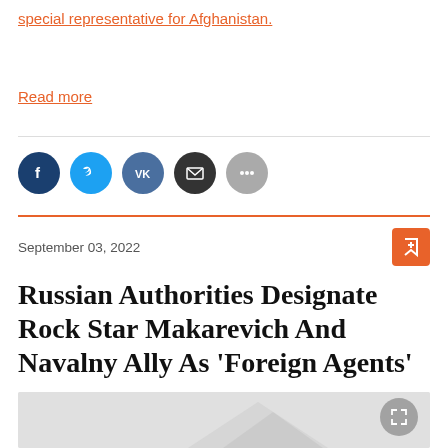special representative for Afghanistan.
Read more
[Figure (other): Social sharing icons: Facebook, Twitter, VK, Email, More]
September 03, 2022
Russian Authorities Designate Rock Star Makarevich And Navalny Ally As 'Foreign Agents'
[Figure (photo): Article photo, partially visible at bottom of page, light gray background with a faint watermark graphic]